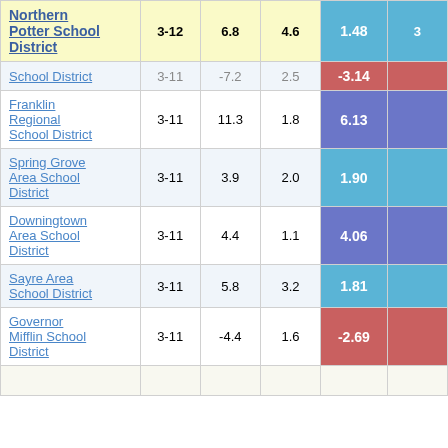| School District | Grades | Col3 | Col4 | Col5 | Col6 |
| --- | --- | --- | --- | --- | --- |
| Northern Potter School District | 3-12 | 6.8 | 4.6 | 1.48 | 3 |
| School District | 3-11 | -7.2 | 2.5 | -3.14 |  |
| Franklin Regional School District | 3-11 | 11.3 | 1.8 | 6.13 |  |
| Spring Grove Area School District | 3-11 | 3.9 | 2.0 | 1.90 |  |
| Downingtown Area School District | 3-11 | 4.4 | 1.1 | 4.06 |  |
| Sayre Area School District | 3-11 | 5.8 | 3.2 | 1.81 |  |
| Governor Mifflin School District | 3-11 | -4.4 | 1.6 | -2.69 |  |